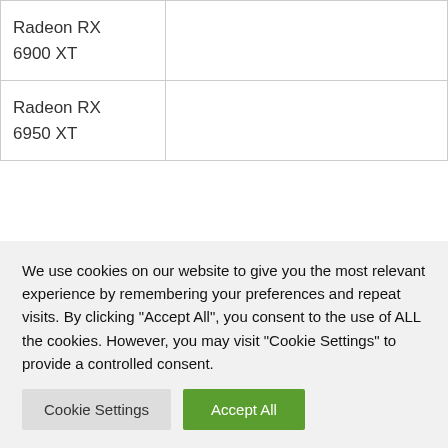| Radeon RX 6900 XT |  |
| Radeon RX 6950 XT |  |
Finally, at this point AMD isn't stating when the new Raise the Game bundle will formally launch. Being generous, there's a good chance they don't know themselves. What is known, at least, is that the current campaign is set to end in three months, on August
We use cookies on our website to give you the most relevant experience by remembering your preferences and repeat visits. By clicking "Accept All", you consent to the use of ALL the cookies. However, you may visit "Cookie Settings" to provide a controlled consent.